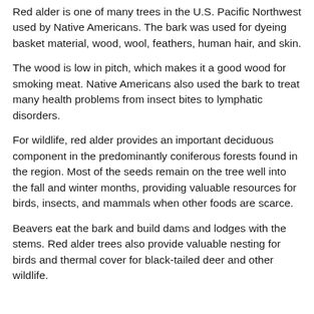Red alder is one of many trees in the U.S. Pacific Northwest used by Native Americans. The bark was used for dyeing basket material, wood, wool, feathers, human hair, and skin.
The wood is low in pitch, which makes it a good wood for smoking meat. Native Americans also used the bark to treat many health problems from insect bites to lymphatic disorders.
For wildlife, red alder provides an important deciduous component in the predominantly coniferous forests found in the region. Most of the seeds remain on the tree well into the fall and winter months, providing valuable resources for birds, insects, and mammals when other foods are scarce.
Beavers eat the bark and build dams and lodges with the stems. Red alder trees also provide valuable nesting for birds and thermal cover for black-tailed deer and other wildlife.